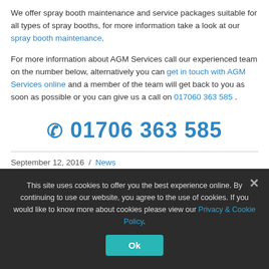We offer spray booth maintenance and service packages suitable for all types of spray booths, for more information take a look at our spray booth maintenance.
For more information about AGM Services call our experienced team on the number below, alternatively you can get in touch with AGM Services online and a member of the team will get back to you as soon as possible or you can give us a call on 017060 363 585 .
☎ 01706 363 585
September 12, 2016 / News
This site uses cookies to offer you the best experience online. By continuing to use our website, you agree to the use of cookies. If you would like to know more about cookies please view our Privacy & Cookie Policy.